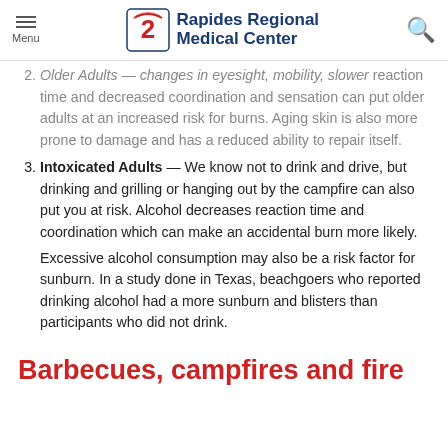Menu | Rapides Regional Medical Center
Older Adults — changes in eyesight, mobility, slower reaction time and decreased coordination and sensation can put older adults at an increased risk for burns. Aging skin is also more prone to damage and has a reduced ability to repair itself.
Intoxicated Adults — We know not to drink and drive, but drinking and grilling or hanging out by the campfire can also put you at risk. Alcohol decreases reaction time and coordination which can make an accidental burn more likely. Excessive alcohol consumption may also be a risk factor for sunburn. In a study done in Texas, beachgoers who reported drinking alcohol had a more sunburn and blisters than participants who did not drink.
Barbecues, campfires and fire